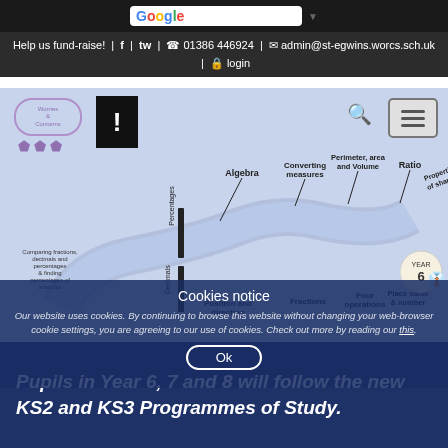Help us fund-raise! | f | tw | 01386 446924 | admin@st-egwins.worcs.sch.uk | login
[Figure (infographic): Year 6 curriculum map showing topics: Percentages, Algebra, Converting measures, Perimeter area and Volume, Ratio, Properties of shape, Decimals, Position and direction, Fractions, Four operations, Place value & number. YEAR 6 label with suited figures icon.]
Cookies notice
Our website uses cookies. By continuing to browse this website without changing your web-browser cookie settings, you are agreeing to our use of cookies. Check out more by reading our this.
Ok
Pupils in Year 6, 7 and 8 will follow the new KS2 and KS3 Programmes of Study.